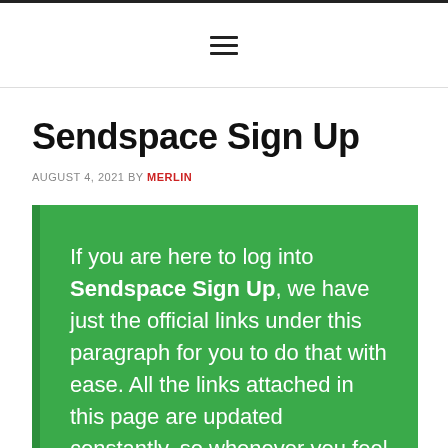≡
Sendspace Sign Up
AUGUST 4, 2021 BY MERLIN
If you are here to log into Sendspace Sign Up, we have just the official links under this paragraph for you to do that with ease. All the links attached in this page are updated constantly, so whenever you feel unsure, you can